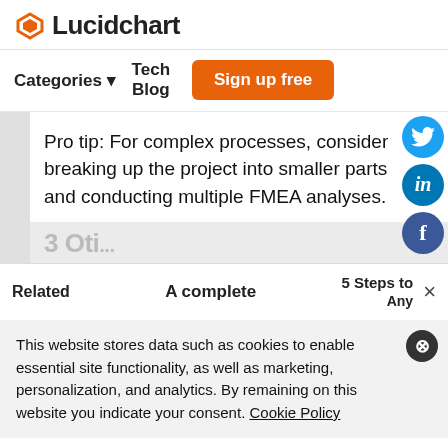Lucidchart
Categories  Tech Blog  Sign up free
Pro tip: For complex processes, consider breaking up the project into smaller parts and conducting multiple FMEA analyses.
3 Oti...
Related  A complete  5 Steps to Any  ×
This website stores data such as cookies to enable essential site functionality, as well as marketing, personalization, and analytics. By remaining on this website you indicate your consent. Cookie Policy